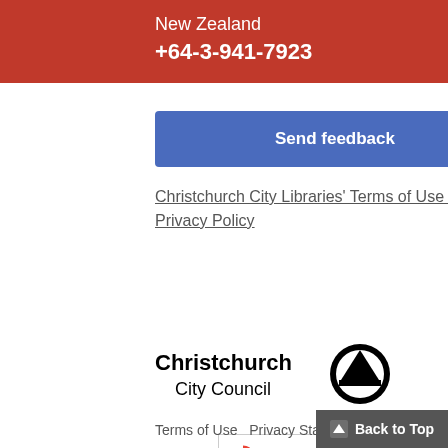New Zealand
+64-3-941-7923
Send feedback
Christchurch City Libraries' Terms of Use and Privacy Policy
[Figure (logo): Christchurch City Council logo with sailboat icon]
[Figure (screenshot): Google Translate Select Language widget]
Terms of Use  Privacy Statement  Acc...